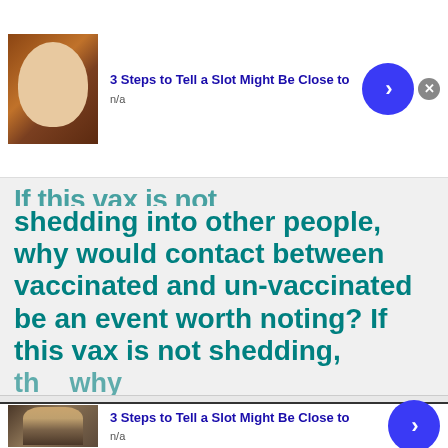[Figure (photo): Advertisement banner with photo of elderly man, title '3 Steps to Tell a Slot Might Be Close to', n/a label, blue arrow button, and close button]
If this vax is not shedding into other people, why would contact between vaccinated and un-vaccinated be an event worth noting? If this vax is not shedding, th... why...
We use cookies to optimize our website and our service.
[Figure (photo): Advertisement banner with photo of person, title '3 Steps to Tell a Slot Might Be Close to', n/a label, blue arrow button, and close button]